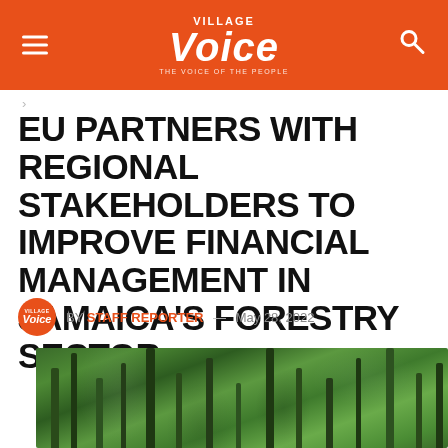Village Voice — THE VOICE OF THE PEOPLE
>
EU PARTNERS WITH REGIONAL STAKEHOLDERS TO IMPROVE FINANCIAL MANAGEMENT IN JAMAICA'S FORESTRY SECTOR.
BY STAFF REPORTER — May 28, 2022
[Figure (photo): Dense green tropical forest canopy with trees and foliage, relating to Jamaica's forestry sector]